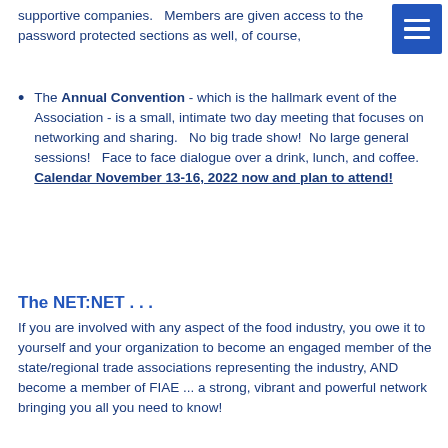supportive companies.   Members are given access to the password protected sections as well, of course,
The Annual Convention - which is the hallmark event of the Association - is a small, intimate two day meeting that focuses on networking and sharing.    No big trade show!  No large general sessions!   Face to face dialogue over a drink, lunch, and coffee.   Calendar November 13-16, 2022 now and plan to attend!
The NET:NET . . .
If you are involved with any aspect of the food industry, you owe it to yourself and your organization to become an engaged member of the state/regional trade associations representing the industry, AND become a member of FIAE ... a strong, vibrant and powerful network bringing you all you need to know!